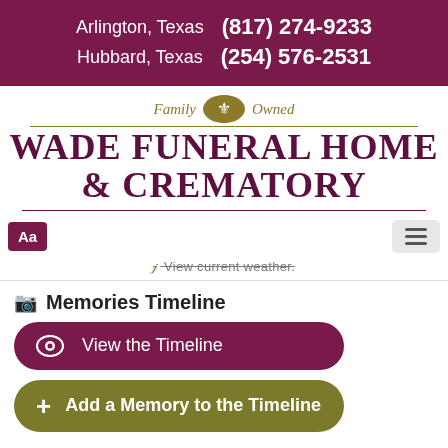Arlington, Texas (817) 274-9233
Hubbard, Texas (254) 576-2531
[Figure (logo): Wade Funeral Home & Crematory logo with 'Family Owned' text and fleur-de-lis emblem]
Aa
View current weather.
Memories Timeline
View the Timeline
Add a Memory to the Timeline